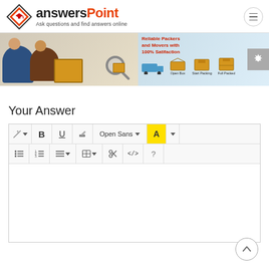[Figure (logo): answersPoint logo with diamond icon and tagline 'Ask questions and find answers online']
[Figure (photo): Advertisement banner for Reliable Packers and Movers with 100% Satisfaction - shows people packing boxes, truck, open box, start packing, full packed stages]
Your Answer
[Figure (screenshot): Rich text editor toolbar with formatting buttons: magic wand, Bold (B), Underline (U), italic, Open Sans font selector, color picker (A with yellow highlight), bullet list, numbered list, alignment, table, scissors, code, help; and empty editor body area]